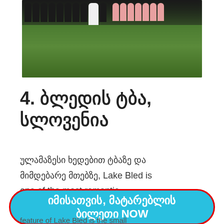[Figure (photo): Wedding photo showing a bride in white dress with bridesmaids in pink dresses and groomsmen in dark suits standing on green grass]
4. ბლედის ტბა, სლოვენია
ულამაზესი ხედებით ტბაზე და მიმდებარე მთებზე, Lake Bled is one of the most romantic
იმისათვის, მატარებლის ბილეთი NOW
feature of Lake Bled is the small